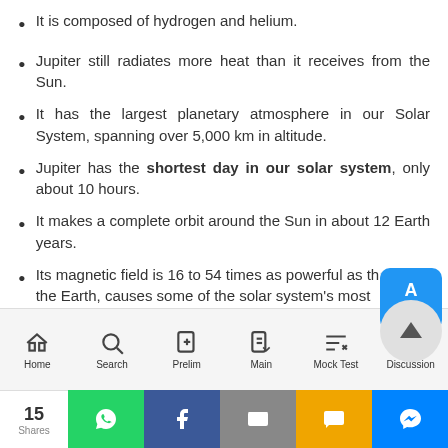It is composed of hydrogen and helium.
Jupiter still radiates more heat than it receives from the Sun.
It has the largest planetary atmosphere in our Solar System, spanning over 5,000 km in altitude.
Jupiter has the shortest day in our solar system, only about 10 hours.
It makes a complete orbit around the Sun in about 12 Earth years.
Its magnetic field is 16 to 54 times as powerful as that of the Earth, causes some of the solar system's most
Home Search Prelim Main Mock Test Discussion
15 Shares